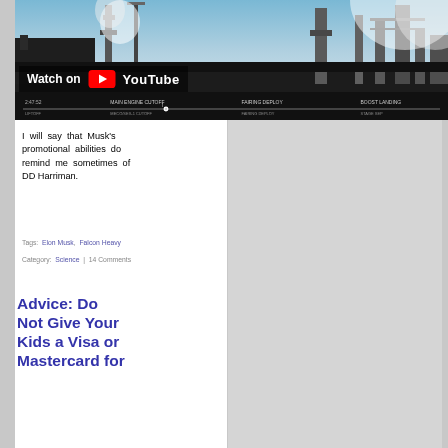[Figure (screenshot): YouTube video thumbnail showing industrial/rocket launch facility with smoke and towers. YouTube 'Watch on YouTube' badge overlay and timeline bar at bottom.]
I will say that Musk's promotional abilities do remind me sometimes of DD Harriman.
Tags: Elon Musk, Falcon Heavy
Category: Science | 14 Comments
Advice: Do Not Give Your Kids a Visa or Mastercard for